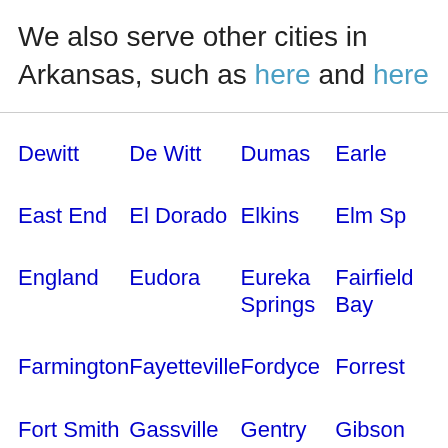We also serve other cities in Arkansas, such as here and here
| Dewitt | De Witt | Dumas | Earle |
| East End | El Dorado | Elkins | Elm Sp... |
| England | Eudora | Eureka Springs | Fairfield Bay |
| Farmington | Fayetteville | Fordyce | Forrest... |
| Fort Smith | Gassville | Gentry | Gibson |
| ... | ... | ... | Gravel... |